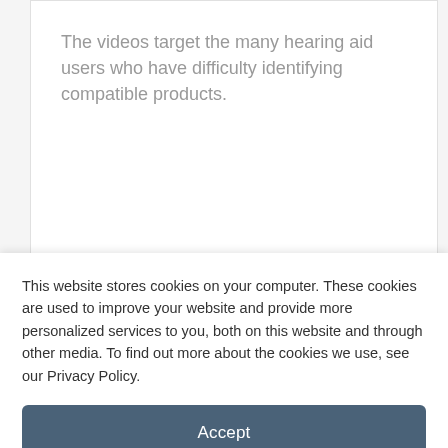The videos target the many hearing aid users who have difficulty identifying compatible products.
READ MORE
Device Monitors Doorbells, Phones, Smoke Detectors: Alerts Hard of
This website stores cookies on your computer. These cookies are used to improve your website and provide more personalized services to you, both on this website and through other media. To find out more about the cookies we use, see our Privacy Policy.
Accept